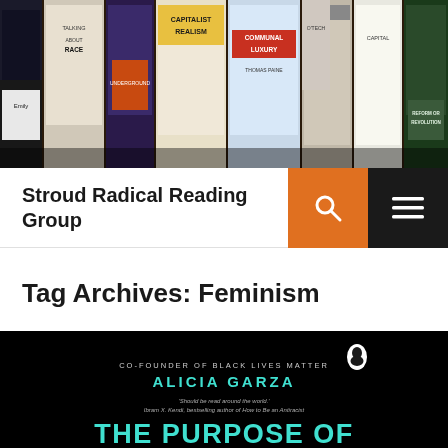[Figure (photo): Photo of various book covers arranged as a collage, including titles such as 'Capitalist Realism', 'Communal Luxury', 'Reform or Revolution', 'O-Tech', and others on a wooden surface.]
Stroud Radical Reading Group
Tag Archives: Feminism
[Figure (photo): Book cover of 'The Purpose of Power' by Alicia Garza, Co-Founder of Black Lives Matter, with cyan and purple lettering on a black background. Penguin logo visible. Quote from Ibram X. Kendi.]
Follow